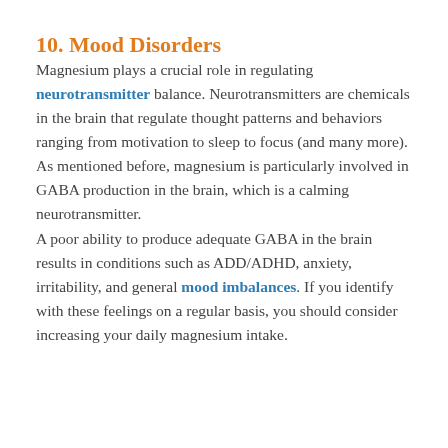10. Mood Disorders
Magnesium plays a crucial role in regulating neurotransmitter balance. Neurotransmitters are chemicals in the brain that regulate thought patterns and behaviors ranging from motivation to sleep to focus (and many more). As mentioned before, magnesium is particularly involved in GABA production in the brain, which is a calming neurotransmitter.
A poor ability to produce adequate GABA in the brain results in conditions such as ADD/ADHD, anxiety, irritability, and general mood imbalances. If you identify with these feelings on a regular basis, you should consider increasing your daily magnesium intake.